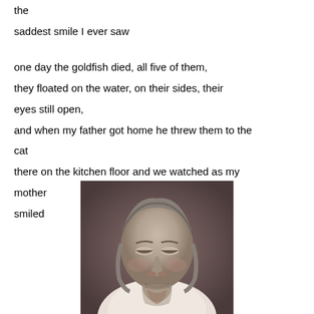the
saddest smile I ever saw

one day the goldfish died, all five of them,
they floated on the water, on their sides, their
eyes still open,
and when my father got home he threw them to the
cat
there on the kitchen floor and we watched as my
mother
smiled
[Figure (photo): Black and white photograph of an elderly man with slicked-back gray hair, a beard, and a faint smile, looking slightly upward, wearing a light-colored shirt.]